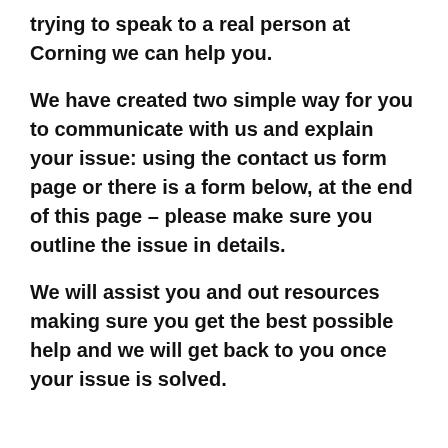trying to speak to a real person at Corning we can help you.
We have created two simple way for you to communicate with us and explain your issue: using the contact us form page or there is a form below, at the end of this page – please make sure you outline the issue in details.
We will assist you and out resources making sure you get the best possible help and we will get back to you once your issue is solved.